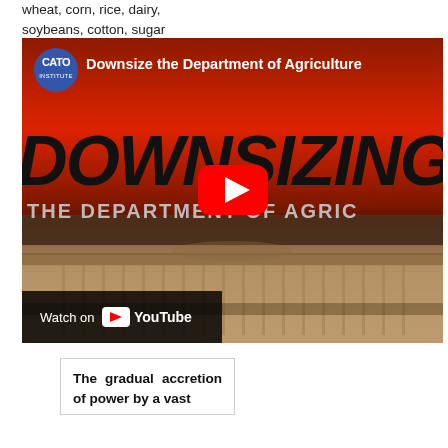wheat, corn, rice, dairy, soybeans, cotton, sugar
[Figure (screenshot): YouTube video thumbnail for 'Downsize the Department of Agriculture' by the Cato Institute. Shows a red and dark gradient background with large bold italic text 'DOWNSIZING' and 'THE DEPARTMENT OF AGRICULTURE' below. A YouTube play button is centered. Bottom left shows 'Watch on YouTube' bar. Top left has Cato Institute circular logo.]
The gradual accretion of power by a vast